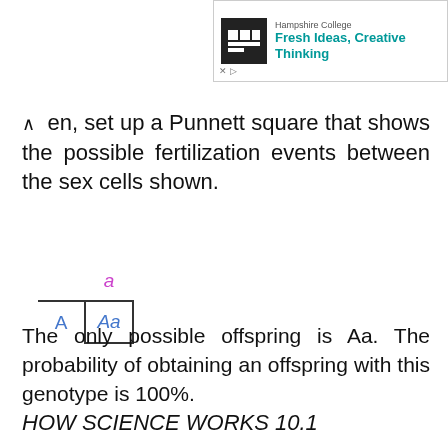[Figure (other): Advertisement banner for Hampshire College with logo and tagline 'Fresh Ideas, Creative Thinking']
en, set up a Punnett square that shows the possible fertilization events between the sex cells shown.
[Figure (table-as-image): Punnett square showing: header column 'a' in pink italic, row label 'A' in blue, result cell 'Aa' in blue italic]
The only possible offspring is Aa. The probability of obtaining an offspring with this genotype is 100%.
HOW SCIENCE WORKS 10.1